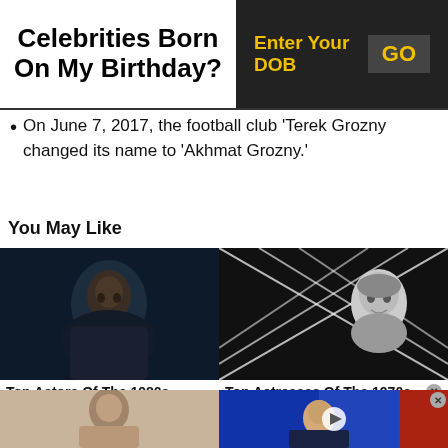Celebrities Born On My Birthday?
On June 7, 2017, the football club 'Terek Grozny changed its name to 'Akhmat Grozny.'
You May Like
[Figure (photo): Dark photo of a man in a leather jacket looking sideways]
Top Actors Of The 1980s
[Figure (photo): Black and white photo of a woman performer in front of diamond pattern backdrop]
Top Actresses Of The 1970s
[Figure (photo): Sepia-toned historical photo of a person]
[Figure (photo): Video thumbnail of a man in suit at desk with Russian flag in background, with play button overlay]